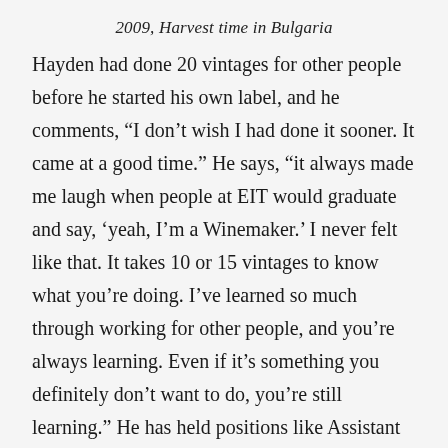2009, Harvest time in Bulgaria
Hayden had done 20 vintages for other people before he started his own label, and he comments, “I don’t wish I had done it sooner. It came at a good time.” He says, “it always made me laugh when people at EIT would graduate and say, ‘yeah, I’m a Winemaker.’ I never felt like that. It takes 10 or 15 vintages to know what you’re doing. I’ve learned so much through working for other people, and you’re always learning. Even if it’s something you definitely don’t want to do, you’re still learning.” He has held positions like Assistant Winemaker at Te Awa in 2006 and 2007, and has done vintages in Calistoga, the Yarra Valley, Marlborough, Spain and Bulgaria. He returned to NZ to take up the role of Winemaker and Viticulturist at William Murdoch